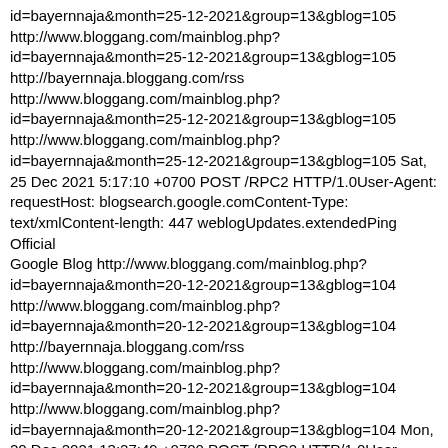id=bayernnaja&month=25-12-2021&group=13&gblog=105 http://www.bloggang.com/mainblog.php?id=bayernnaja&month=25-12-2021&group=13&gblog=105 http://bayernnaja.bloggang.com/rss http://www.bloggang.com/mainblog.php?id=bayernnaja&month=25-12-2021&group=13&gblog=105 http://www.bloggang.com/mainblog.php?id=bayernnaja&month=25-12-2021&group=13&gblog=105 Sat, 25 Dec 2021 5:17:10 +0700 POST /RPC2 HTTP/1.0User-Agent: requestHost: blogsearch.google.comContent-Type: text/xmlContent-length: 447 weblogUpdates.extendedPing Official Google Blog http://www.bloggang.com/mainblog.php?id=bayernnaja&month=20-12-2021&group=13&gblog=104 http://www.bloggang.com/mainblog.php?id=bayernnaja&month=20-12-2021&group=13&gblog=104 http://bayernnaja.bloggang.com/rss http://www.bloggang.com/mainblog.php?id=bayernnaja&month=20-12-2021&group=13&gblog=104 http://www.bloggang.com/mainblog.php?id=bayernnaja&month=20-12-2021&group=13&gblog=104 Mon, 20 Dec 2021 13:27:49 +0700 POST /RPC2 HTTP/1.0User-Agent: requestHost: blogsearch.google.comContent-Type: text/xmlContent-length: 447 weblogUpdates.extendedPing Official Google Blog http://www.bloggang.com/mainblog.php?id=bayernnaja&month=17-12-2021&group=13&gblog=103 http://www.bloggang.com/mainblog.php?id=bayernnaja&month=17-12-2021&group=13&gblog=1